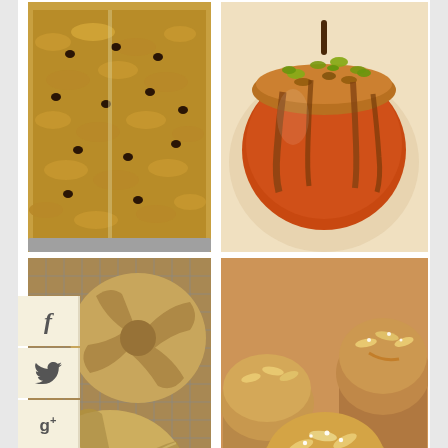[Figure (photo): Granola or oat bar with chocolate chips on baking sheet, top-down view]
[Figure (photo): Caramel coated apple topped with pistachios and nuts]
[Figure (photo): Swirled star-shaped bread rolls on cooling rack, dusted with flour]
[Figure (photo): Small panettone or muffins with almond slices and powdered sugar in paper wrappers]
Featured in
TIMESONLINE
50 world's best food blogs
FOOD52